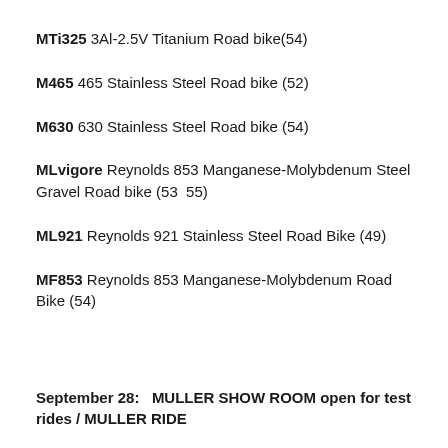MTi325  3Al-2.5V Titanium Road bike(54)
M465  465 Stainless Steel Road bike (52)
M630  630 Stainless Steel Road bike (54)
MLvigore  Reynolds 853 Manganese-Molybdenum Steel Gravel Road bike (53  55)
ML921  Reynolds 921 Stainless Steel Road Bike (49)
MF853  Reynolds 853 Manganese-Molybdenum Road Bike (54)
September 28:   MULLER SHOW ROOM open for test rides / MULLER RIDE